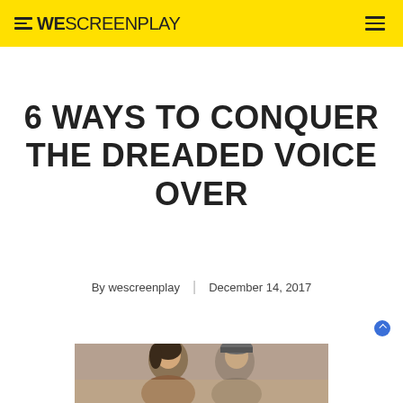WESCREENPLAY
6 WAYS TO CONQUER THE DREADED VOICE OVER
By wescreenplay | December 14, 2017
[Figure (photo): Photo of two people, cropped at bottom of page]